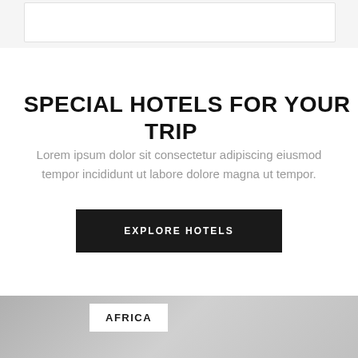[Figure (screenshot): Top navigation bar area with white search/input box on light gray background]
SPECIAL HOTELS FOR YOUR TRIP
Lorem ipsum dolor sit consectetur adipiscing eiusmod tempor incididunt ut labore dolore magna ut tempor.
EXPLORE HOTELS
[Figure (photo): Gray gradient image section at the bottom with an AFRICA label badge in white]
AFRICA